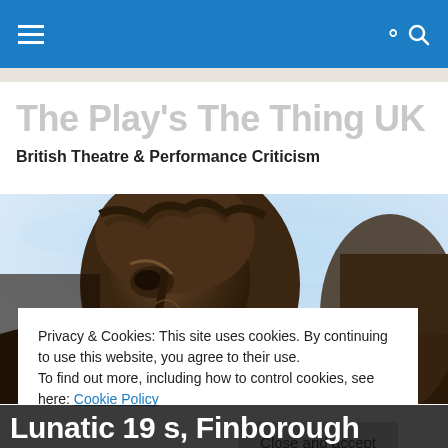≡  🔍
The Play's The Thing UK
British Theatre & Performance Criticism
[Figure (photo): Close-up of a dark bronze statue of a man, photographed against a light blue sky]
Privacy & Cookies: This site uses cookies. By continuing to use this website, you agree to their use.
To find out more, including how to control cookies, see here: Cookie Policy
Close and accept
Lunatic 19 s, Finborough